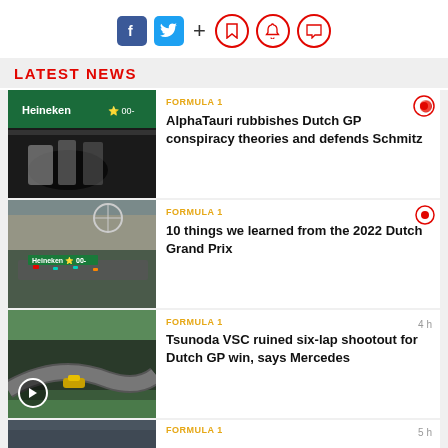Social and action icons bar
LATEST NEWS
[Figure (photo): F1 pit stop scene with Heineken branding]
FORMULA 1
AlphaTauri rubbishes Dutch GP conspiracy theories and defends Schmitz
[Figure (photo): F1 race start at Dutch GP with Heineken branding and grandstands]
FORMULA 1
10 things we learned from the 2022 Dutch Grand Prix
[Figure (photo): F1 car racing on track with play button overlay]
FORMULA 1  4 h
Tsunoda VSC ruined six-lap shootout for Dutch GP win, says Mercedes
[Figure (photo): Bottom news item thumbnail]
FORMULA 1  5 h